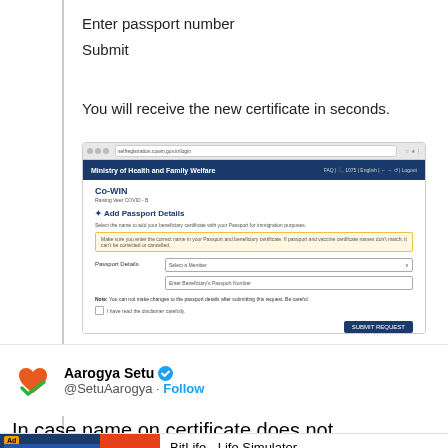Enter passport number
Submit
You will receive the new certificate in seconds.
[Figure (screenshot): Screenshot of CoWIN portal showing 'Add Passport Details' form with fields for selecting a member and entering passport number, along with a Submit Request button.]
Aarogya Setu @SetuAarogya · Follow
In case name on certificate does not match name on passport, you can request
[Figure (screenshot): Ad banner for BitLife - Life Simulator with Install button]